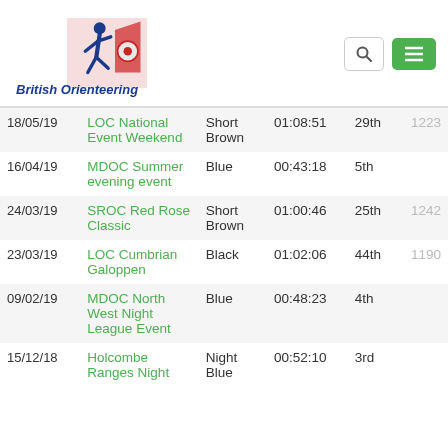[Figure (logo): British Orienteering logo with running figure and name]
| Date | Event | Course | Time | Position | Points |
| --- | --- | --- | --- | --- | --- |
| 18/05/19 | LOC National Event Weekend | Short Brown | 01:08:51 | 29th | 1223 |
| 16/04/19 | MDOC Summer evening event | Blue | 00:43:18 | 5th |  |
| 24/03/19 | SROC Red Rose Classic | Short Brown | 01:00:46 | 25th | 1242 |
| 23/03/19 | LOC Cumbrian Galoppen | Black | 01:02:06 | 44th | 1190 |
| 09/02/19 | MDOC North West Night League Event | Blue | 00:48:23 | 4th |  |
| 15/12/18 | Holcombe Ranges Night | Night Blue | 00:52:10 | 3rd |  |